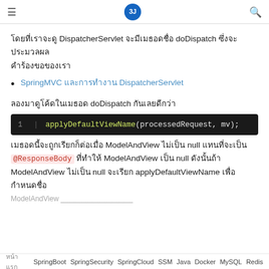☰ [logo] 🔍
โดยที่เราจะดู DispatcherServlet จะมีเมธอดชื่อ doDispatch ซึ่งจะประมวลผล คำร้องขอของเรา
SpringMVC และการทำงาน DispatcherServlet
ลองมาดูโค้ดในเมธอด doDispatch กันเลยดีกว่า
applyDefaultViewName(processedRequest, mv);
เมธอดนี้จะถูกเรียกก็ต่อเมื่อ ModelAndView ไม่เป็น null แทนที่จะเป็น @ResponseBody ที่ทำให้ ModelAndView เป็น null ดังนั้นถ้า ModelAndView ไม่เป็น null จะเรียก applyDefaultViewName เพื่อกำหนดชื่อ ModelAndView ...
หน้าแรก SpringBoot SpringSecurity SpringCloud SSM Java Docker MySQL Redis